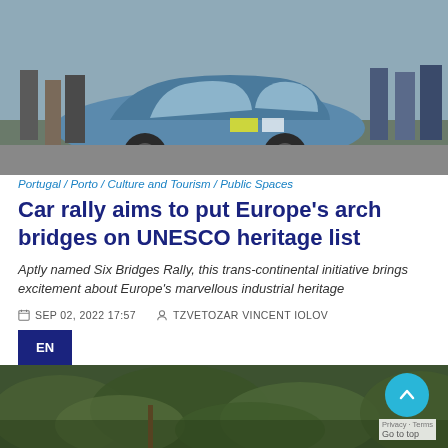[Figure (photo): Blue vintage/classic car surrounded by spectators at what appears to be a car rally event. The car is light blue and has rally stickers on it.]
Portugal / Porto / Culture and Tourism / Public Spaces
Car rally aims to put Europe's arch bridges on UNESCO heritage list
Aptly named Six Bridges Rally, this trans-continental initiative brings excitement about Europe's marvellous industrial heritage
SEP 02, 2022 17:57   TZVETOZAR VINCENT IOLOV
[Figure (photo): Green hedgerow/bushes outdoor landscape scene, partially visible below an EN language tab.]